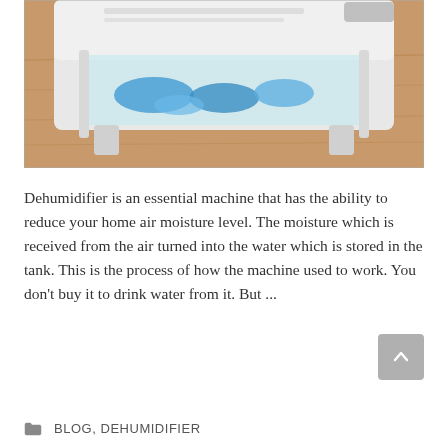[Figure (photo): A white plastic dehumidifier water tank/collection unit with blue crystalline desiccant visible inside, placed on a light wood floor. The device has a transparent section showing the blue crystals and white molded plastic frame.]
Dehumidifier is an essential machine that has the ability to reduce your home air moisture level. The moisture which is received from the air turned into the water which is stored in the tank. This is the process of how the machine used to work. You don't buy it to drink water from it. But ...
BLOG, DEHUMIDIFIER